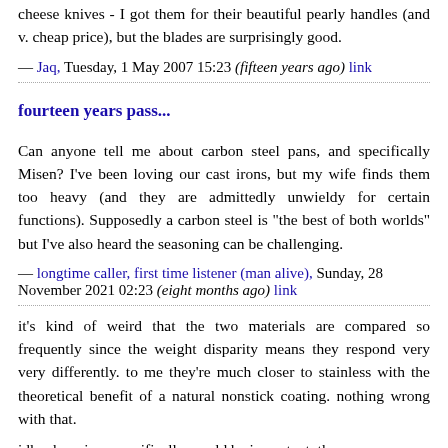cheese knives - I got them for their beautiful pearly handles (and v. cheap price), but the blades are surprisingly good.
— Jaq, Tuesday, 1 May 2007 15:23 (fifteen years ago) link
fourteen years pass...
Can anyone tell me about carbon steel pans, and specifically Misen? I've been loving our cast irons, but my wife finds them too heavy (and they are admittedly unwieldy for certain functions). Supposedly a carbon steel is "the best of both worlds" but I've also heard the seasoning can be challenging.
— longtime caller, first time listener (man alive), Sunday, 28 November 2021 02:23 (eight months ago) link
it's kind of weird that the two materials are compared so frequently since the weight disparity means they respond very very differently. to me they're much closer to stainless with the theoretical benefit of a natural nonstick coating. nothing wrong with that.
idk why misen specifically would be important, these